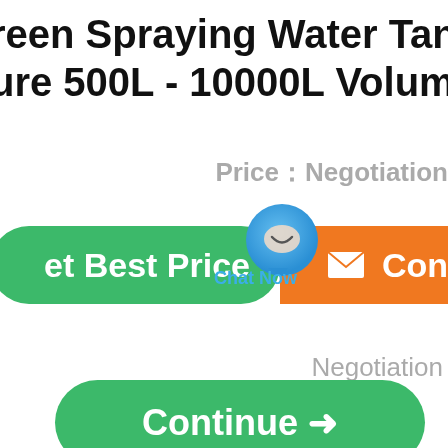reen Spraying Water Tank Truck ure 500L - 10000L Volume
Price：Negotiation
Get Best Price
Contact
[Figure (illustration): Chat Now button with blue speech bubble icon]
Negotiation
Continue →